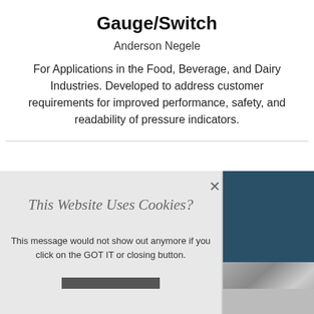Gauge/Switch
Anderson Negele
For Applications in the Food, Beverage, and Dairy Industries. Developed to address customer requirements for improved performance, safety, and readability of pressure indicators.
[Figure (screenshot): Cookie consent popup overlay on a webpage, with title 'This Website Uses Cookies?', message text, and a 'Got It' button. To the right is a partial photo of a metallic gauge component on a dark teal background.]